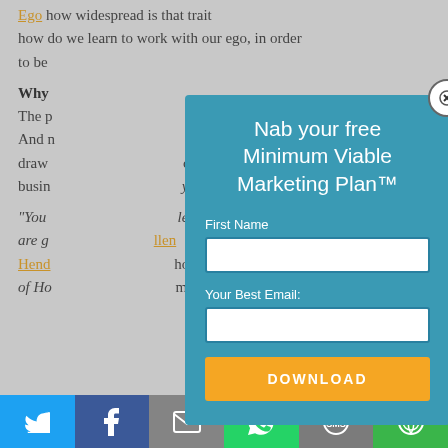how do we learn to work with our ego, in order to be
Why ...
The p ... tion.
And ... never
draw ... own
busin ... y.
“You ... le
are g ... llen
Hend ... hor
of Ho ... m”
[Figure (infographic): Modal popup overlay with teal background. Title reads 'Nab your free Minimum Viable Marketing Plan™'. Contains fields for 'First Name' and 'Your Best Email:' with white input boxes, and an orange DOWNLOAD button. A close (X) button appears at the top right.]
[Figure (infographic): Social sharing bar at the bottom with six buttons: Twitter (blue bird icon), Facebook (dark blue F icon), Email (grey envelope icon), WhatsApp (green phone icon), SMS (grey SMS icon), More (green circular icon).]